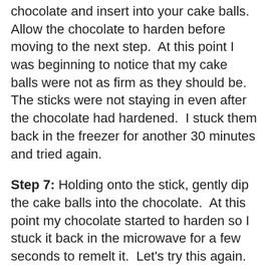chocolate and insert into your cake balls.  Allow the chocolate to harden before moving to the next step.  At this point I was beginning to notice that my cake balls were not as firm as they should be.  The sticks were not staying in even after the chocolate had hardened.  I stuck them back in the freezer for another 30 minutes and tried again.
Step 7: Holding onto the stick, gently dip the cake balls into the chocolate.  At this point my chocolate started to harden so I stuck it back in the microwave for a few seconds to remelt it.  Let's try this again.  Gently dip the cake balls into the chocolate.  Hmmm....
Step 8: Remelt and try again.  Gently dip the